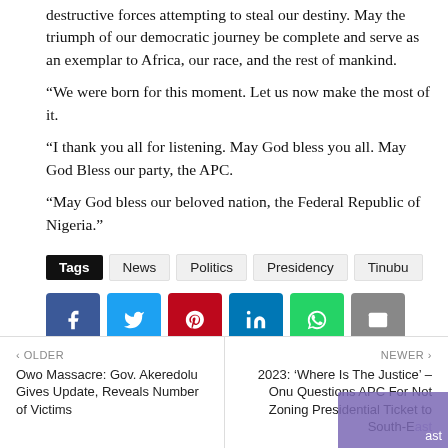destructive forces attempting to steal our destiny. May the triumph of our democratic journey be complete and serve as an exemplar to Africa, our race, and the rest of mankind.
“We were born for this moment. Let us now make the most of it.
“I thank you all for listening. May God bless you all. May God Bless our party, the APC.
“May God bless our beloved nation, the Federal Republic of Nigeria.”
Tags  News  Politics  Presidency  Tinubu
[Figure (infographic): Social share buttons: Facebook, Twitter, Pinterest, LinkedIn, WhatsApp, Email]
OLDER
Owo Massacre: Gov. Akeredolu Gives Update, Reveals Number of Victims
NEWER
2023: ‘Where Is The Justice’ – Onu Questions APC For Not Zoning Presidential Ticket to South-East